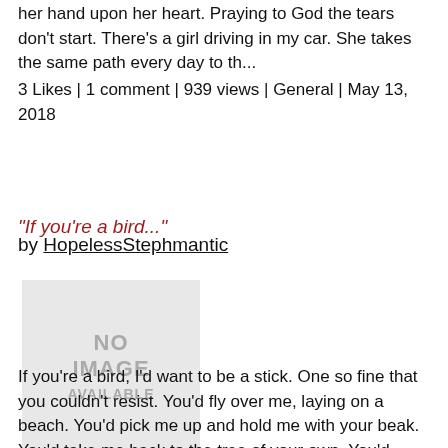her hand upon her heart. Praying to God the tears don't start. There's a girl driving in my car. She takes the same path every day to th...
3 Likes | 1 comment | 939 views | General | May 13, 2018
"If you’re a bird..."
by HopelessStephmantic
[Figure (other): No image available placeholder box with grey background]
If you're a bird, I'd want to be a stick. One so fine that you couldn't resist. You'd fly over me, laying on a beach. You'd pick me up and hold me with your beak. You'd take me back to the tree of your own. You'd place me in your nest...